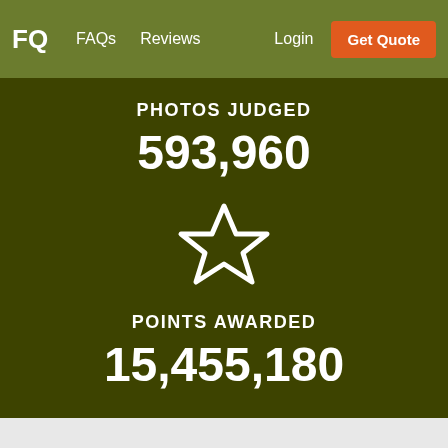FQ  FAQs  Reviews  Login  Get Quote
PHOTOS JUDGED
593,960
[Figure (illustration): White outline star icon on dark olive green background]
POINTS AWARDED
15,455,180